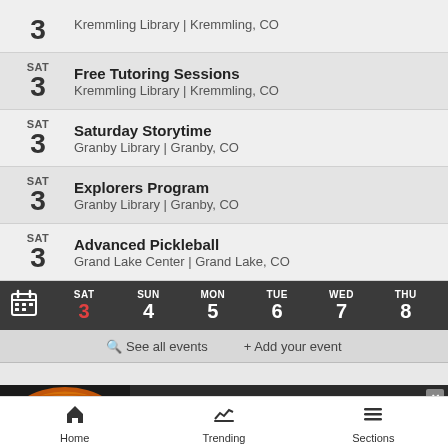3 Kremmling Library | Kremmling, CO
SAT 3 Free Tutoring Sessions — Kremmling Library | Kremmling, CO
SAT 3 Saturday Storytime — Granby Library | Granby, CO
SAT 3 Explorers Program — Granby Library | Granby, CO
SAT 3 Advanced Pickleball — Grand Lake Center | Grand Lake, CO
[Figure (screenshot): Calendar navigation bar showing SAT 3, SUN 4, MON 5, TUE 6, WED 7, THU 8]
See all events   + Add your event
[Figure (infographic): Seamless food delivery advertisement banner with pizza image, seamless logo, and ORDER NOW button]
[Figure (screenshot): Mobile bottom navigation bar with Home, Trending, and Sections tabs]